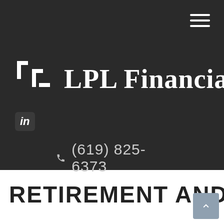[Figure (logo): LPL Financial logo with icon and wordmark on dark background]
in
(619) 825-6373
RETIREMENT AND
[Figure (other): Scroll-to-top button with upward chevron arrow]